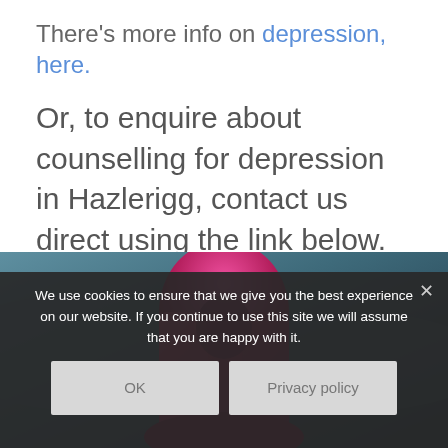There's more info on depression, here.
Or, to enquire about counselling for depression in Hazlerigg, contact us direct using the link below.
[Figure (photo): Photograph of a person wearing a bright pink/magenta hoodie, photographed from behind or with face obscured, against a blurred blue-grey outdoor background.]
We use cookies to ensure that we give you the best experience on our website. If you continue to use this site we will assume that you are happy with it.